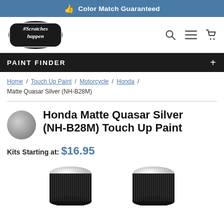Color Match Guaranteed
[Figure (logo): #ScratchesHappen brand logo — black circular badge with white handwritten script text]
PAINT FINDER
Home / Touch Up Paint / Motorcycle / Honda / Matte Quasar Silver (NH-B28M)
Honda Matte Quasar Silver (NH-B28M) Touch Up Paint
Kits Starting at: $16.95
[Figure (photo): Two small round paint touch-up bottles with black ribbed caps and white tops, viewed from above-front angle]